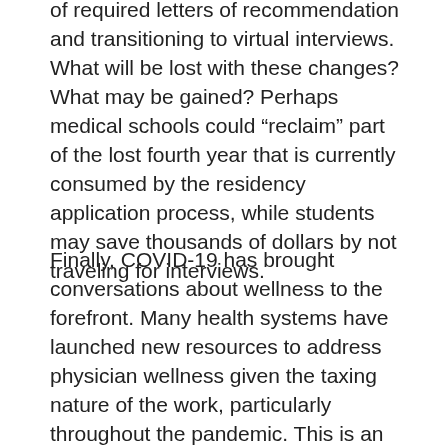of required letters of recommendation and transitioning to virtual interviews. What will be lost with these changes? What may be gained? Perhaps medical schools could “reclaim” part of the lost fourth year that is currently consumed by the residency application process, while students may save thousands of dollars by not traveling for interviews.
Finally, COVID-19 has brought conversations about wellness to the forefront. Many health systems have launched new resources to address physician wellness given the taxing nature of the work, particularly throughout the pandemic. This is an important opportunity to role model the importance of wellness for our students and provide systems-level resources that promote and enhance